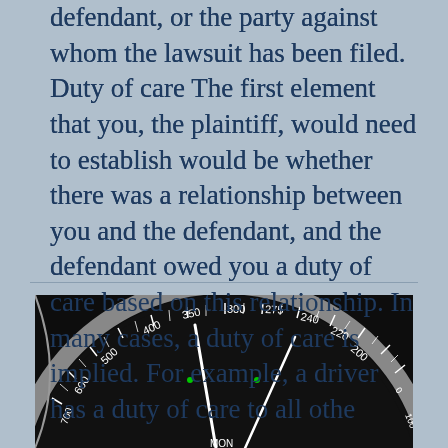defendant, or the party against whom the lawsuit has been filed. Duty of care The first element that you, the plaintiff, would need to establish would be whether there was a relationship between you and the defendant, and the defendant owed you a duty of care based on this relationship. In many cases, a duty of care is implied. For example, a driver has a duty of care to all othe
[Figure (photo): Close-up photograph of a speedometer/gauge face showing numbers including 200, 220, 240, 275, 300, 350, 400, 500, 600 and other markings, with white indicator needles visible against a dark background. The gauge has a silver/chrome rim.]